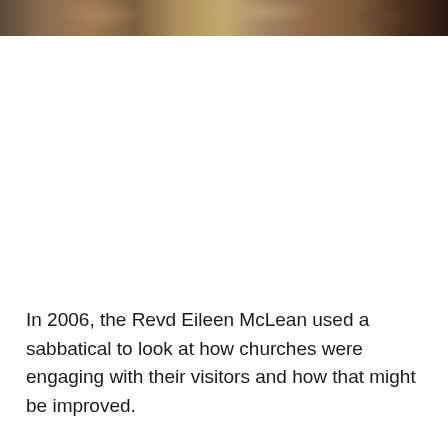[Figure (photo): Cropped photo strip at top of page showing what appears to be a church interior or outdoor scene in warm brown and tan tones]
In 2006, the Revd Eileen McLean used a sabbatical to look at how churches were engaging with their visitors and how that might be improved.